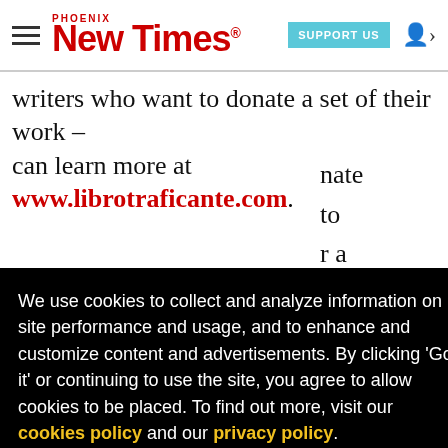Phoenix New Times — SUPPORT US
writers who want to donate a set of their work – can learn more at www.librotraficante.com.
We use cookies to collect and analyze information on site performance and usage, and to enhance and customize content and advertisements. By clicking 'Got it' or continuing to use the site, you agree to allow cookies to be placed. To find out more, visit our cookies policy and our privacy policy.
Got it!
negatives the way we do cute second cousins).